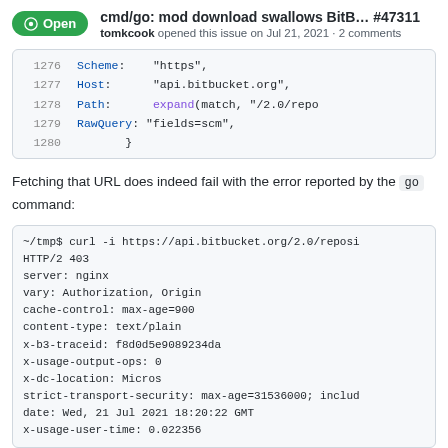cmd/go: mod download swallows BitB... #47311
tomkcook opened this issue on Jul 21, 2021 · 2 comments
1276    Scheme:    "https",
1277    Host:      "api.bitbucket.org",
1278    Path:      expand(match, "/2.0/repo
1279    RawQuery:  "fields=scm",
1280  }
Fetching that URL does indeed fail with the error reported by the go command:
~/tmp$ curl -i https://api.bitbucket.org/2.0/reposi
HTTP/2 403
server: nginx
vary: Authorization, Origin
cache-control: max-age=900
content-type: text/plain
x-b3-traceid: f8d0d5e9089234da
x-usage-output-ops: 0
x-dc-location: Micros
strict-transport-security: max-age=31536000; includ
date: Wed, 21 Jul 2021 18:20:22 GMT
x-usage-user-time: 0.022356